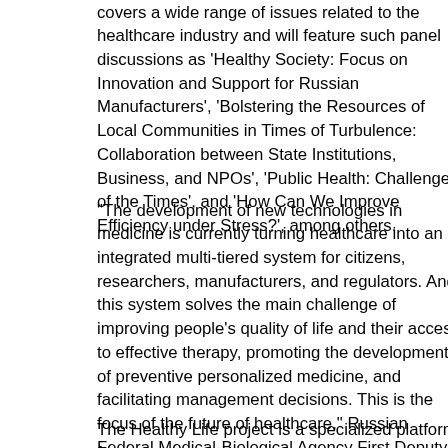covers a wide range of issues related to the healthcare industry and will feature such panel discussions as ‘Healthy Society: Focus on Innovation and Support for Russian Manufacturers’, ‘Bolstering the Resources of Local Communities in Times of Turbulence: Collaboration between State Institutions, Business, and NPOs’, ‘Public Health: Challenges of the Times’, and ‘How Can We Improve Efficiency under Stress?’, among others.
“The development of new technologies in medicine is currently turning healthcare into an integrated multi-tiered system for citizens, researchers, manufacturers, and regulators. And this system solves the main challenge of improving people’s quality of life and their access to effective therapy, promoting the development of preventive personalized medicine, and facilitating management decisions. This is the focus of the future of healthcare,” Russian Federal Medical-Biological Agency First Deputy Director Tatyana Yakovleva said.
The Healthy Life project is a specialized platform for